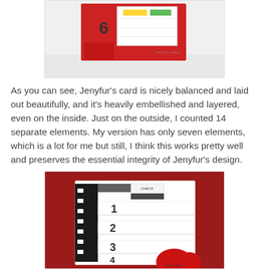[Figure (photo): Photo of a red card with embellishments, numbers and decorative elements, displayed on a white surface]
As you can see, Jenyfur's card is nicely balanced and laid out beautifully, and it's heavily embellished and layered, even on the inside. Just on the outside, I counted 14 separate elements. My version has only seven elements, which is a lot for me but still, I think this works pretty well and preserves the essential integrity of Jenyfur's design.
[Figure (photo): Close-up photo of a handmade card on red background showing a numbered list (1,2,3,4) on white card with black film strip element and red heart shape, with 'important' text at bottom]